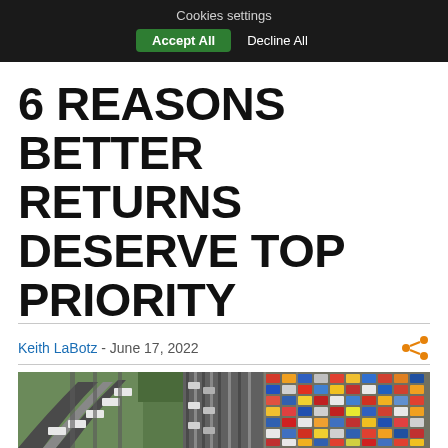Cookies settings | Accept All | Decline All
6 REASONS BETTER RETURNS DESERVE TOP PRIORITY
Keith LaBotz - June 17, 2022
[Figure (photo): Aerial view of railway tracks and colorful shipping containers at a rail yard]